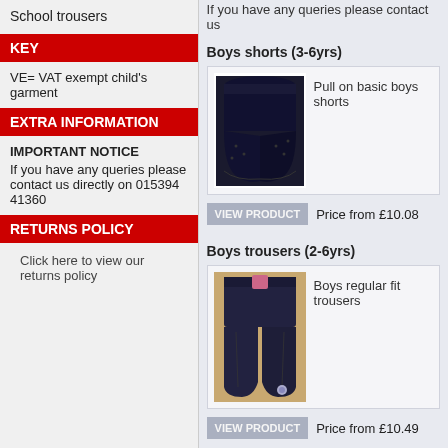School trousers
KEY
VE= VAT exempt child's garment
EXTRA INFORMATION
IMPORTANT NOTICE
If you have any queries please contact us directly on 015394 41360
RETURNS POLICY
Click here to view our returns policy
If you have any queries please contact us
Boys shorts (3-6yrs)
[Figure (photo): Dark navy boys school shorts, pull on style]
Pull on basic boys shorts
Price from £10.08
Boys trousers (2-6yrs)
[Figure (photo): Boys regular fit dark navy school trousers with pink tag]
Boys regular fit trousers
Price from £10.49